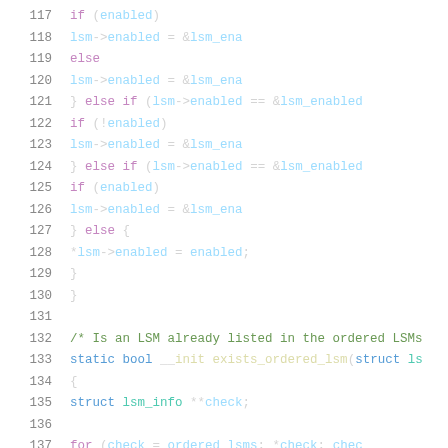Source code snippet, lines 117-137, C language kernel code involving LSM (Linux Security Module) logic